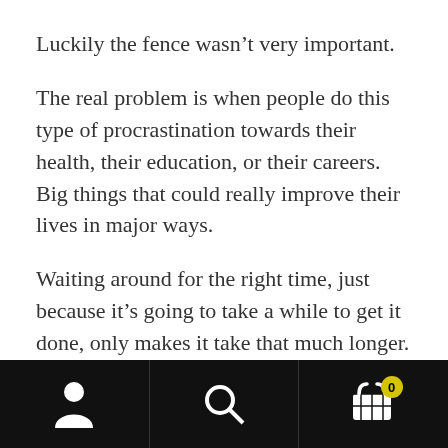Luckily the fence wasn’t very important.
The real problem is when people do this type of procrastination towards their health, their education, or their careers. Big things that could really improve their lives in major ways.
Waiting around for the right time, just because it’s going to take a while to get it done, only makes it take that much longer.
Time keeps moving forward whether you’ve started or not.
Navigation bar with person, search, and cart (0) icons